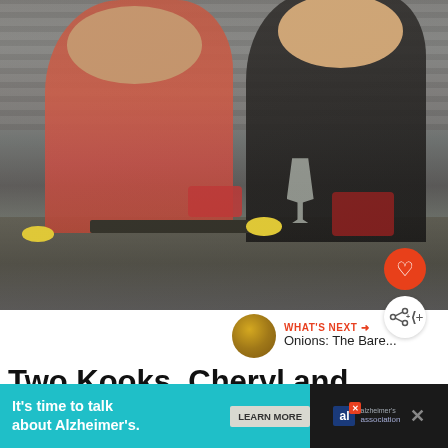[Figure (photo): Two women smiling in a kitchen. Left woman wears a red cardigan over a floral top, right woman wears a black top with a braid. They stand at a kitchen counter with strawberries, lemons, a wine glass, and berries. Dark tile backsplash behind them.]
WHAT'S NEXT → Onions: The Bare...
Two Kooks, Cheryl and Jenna
[Figure (infographic): Advertisement banner: 'It's time to talk about Alzheimer's.' with a LEARN MORE button and the Alzheimer's Association logo.]